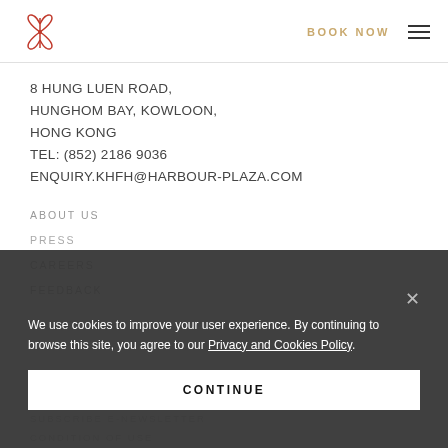BOOK NOW
8 HUNG LUEN ROAD,
HUNGHOM BAY, KOWLOON,
HONG KONG
TEL: (852) 2186 9036
ENQUIRY.KHFH@HARBOUR-PLAZA.COM
ABOUT US
PRESS
CAREERS
FEEDBACK
DOWNLOAD
SUBSCRIBE E-NEWSLETTER
CONDITION OF USE
We use cookies to improve your user experience. By continuing to browse this site, you agree to our Privacy and Cookies Policy.
CONTINUE